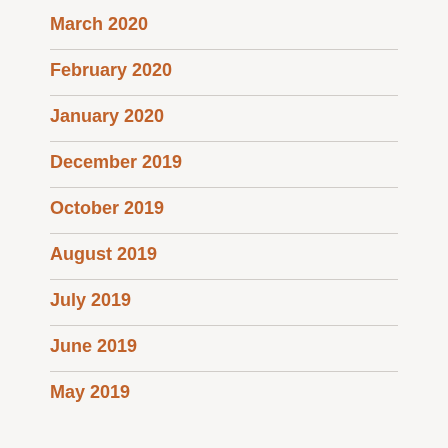March 2020
February 2020
January 2020
December 2019
October 2019
August 2019
July 2019
June 2019
May 2019